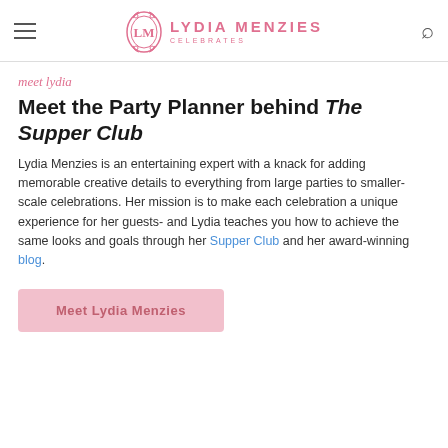LYDIA MENZIES CELEBRATES
meet lydia
Meet the Party Planner behind The Supper Club
Lydia Menzies is an entertaining expert with a knack for adding memorable creative details to everything from large parties to smaller-scale celebrations. Her mission is to make each celebration a unique experience for her guests- and Lydia teaches you how to achieve the same looks and goals through her Supper Club and her award-winning blog.
Meet Lydia Menzies